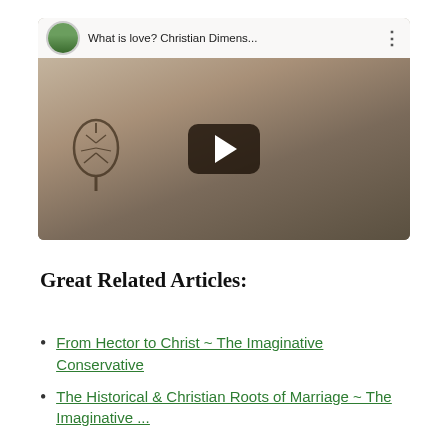[Figure (screenshot): YouTube video thumbnail showing a bald man in a dark blazer seated in a room. The video is paused with a play button overlay. The top bar shows an avatar, the title 'What is love? Christian Dimens...' and a three-dot menu. A decorative tree silhouette is visible on the left wall.]
Great Related Articles:
From Hector to Christ ~ The Imaginative Conservative
The Historical & Christian Roots of Marriage ~ The Imaginative ...